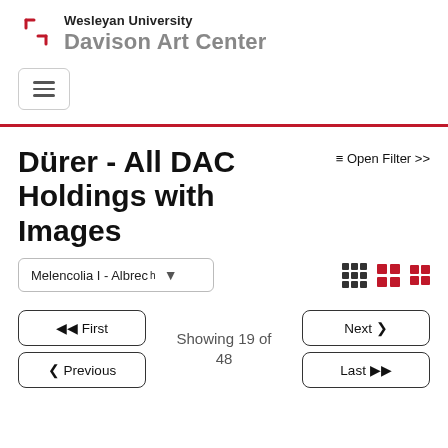Wesleyan University Davison Art Center
[Figure (logo): Wesleyan University red bracket logo mark]
Dürer - All DAC Holdings with Images
≡ Open Filter >>
Melencolia I - Albrech ▾
Showing 19 of 48
⏮ First
❮ Previous
Next ❯
Last ⏭